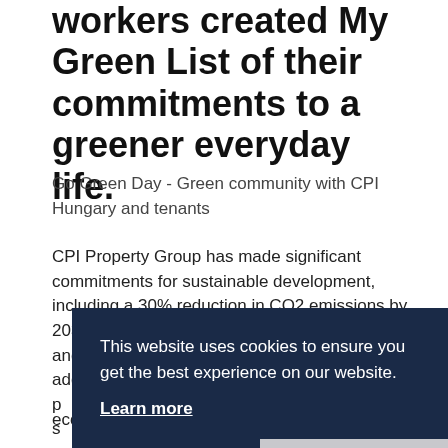workers created My Green List of their commitments to a greener everyday life.
Go Green Day - Green community with CPI Hungary and tenants
CPI Property Group has made significant commitments for sustainable development, including a 30% reduction in CO2 emissions by 2030, a 100% use of green energy from 2024, and a 10% reduction in water use by 2030. In addition, from 2022 CPI H... p... s... c...
T... w... d te... ecological footprint of their workplaces and build a
This website uses cookies to ensure you get the best experience on our website.
Learn more
Decline
Allow cookies